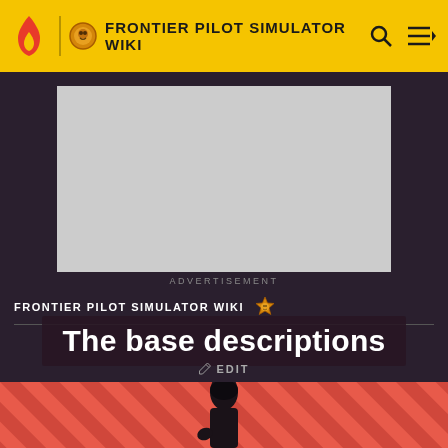FRONTIER PILOT SIMULATOR WIKI
[Figure (other): Advertisement placeholder — gray rectangle]
ADVERTISEMENT
FRONTIER PILOT SIMULATOR WIKI
The base descriptions
EDIT